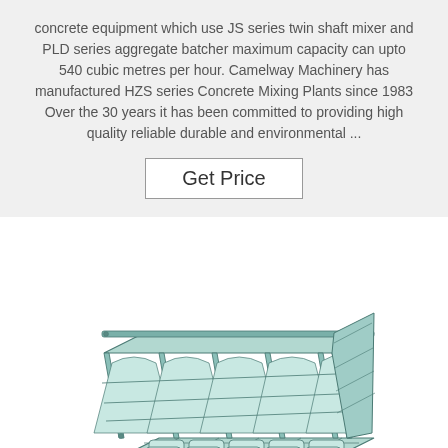concrete equipment which use JS series twin shaft mixer and PLD series aggregate batcher maximum capacity can upto 540 cubic metres per hour. Camelway Machinery has manufactured HZS series Concrete Mixing Plants since 1983 Over the 30 years it has been committed to providing high quality reliable durable and environmental ...
Get Price
[Figure (illustration): 3D isometric illustration of a concrete batching plant aggregate batcher / PLD series component showing a green-tinted metal frame structure with grid compartments and curved dividers arranged in rows.]